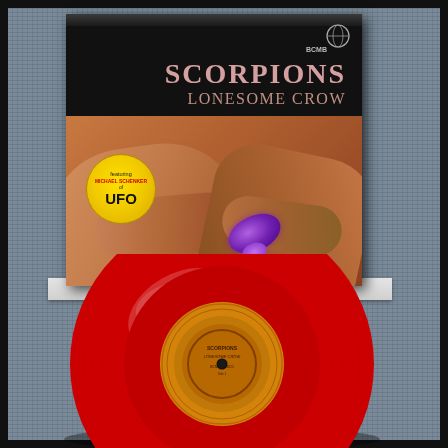[Figure (photo): Photograph of a Scorpions 'Lonesome Crow' vinyl record album. The album cover is black with the text 'SCORPIONS' in pink/mauve serif font and 'LONESOME CROW' below it in smaller text. The lower portion of the cover shows brown/tan hands holding a purple snake or object. A yellow circular sticker on the lower left reads 'featuring MICHAEL SCHENKER of UFO'. The record itself is a bright red vinyl LP, partially pulled out of a white inner sleeve, displayed on a gray carpet. The record label is orange/tan with dark brown text.]